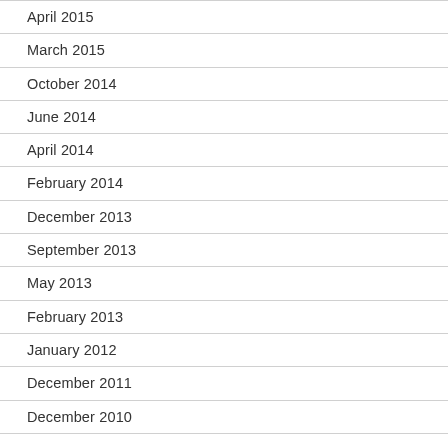April 2015
March 2015
October 2014
June 2014
April 2014
February 2014
December 2013
September 2013
May 2013
February 2013
January 2012
December 2011
December 2010